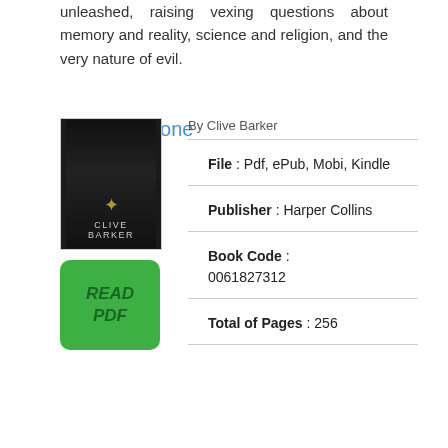unleashed, raising vexing questions about memory and reality, science and religion, and the very nature of evil.
Mister B. Gone
[Figure (illustration): Book cover of Mister B. Gone by Clive Barker, dark background with decorative emblem and author name]
[Figure (other): Green READ PDF button]
By Clive Barker
File : Pdf, ePub, Mobi, Kindle
Publisher : Harper Collins
Book Code : 0061827312
Total of Pages : 256